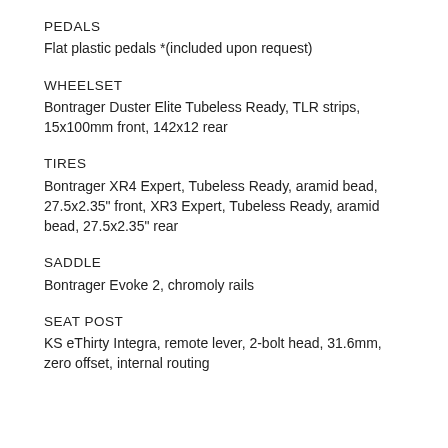PEDALS
Flat plastic pedals *(included upon request)
WHEELSET
Bontrager Duster Elite Tubeless Ready, TLR strips, 15x100mm front, 142x12 rear
TIRES
Bontrager XR4 Expert, Tubeless Ready, aramid bead, 27.5x2.35" front, XR3 Expert, Tubeless Ready, aramid bead, 27.5x2.35" rear
SADDLE
Bontrager Evoke 2, chromoly rails
SEAT POST
KS eThirty Integra, remote lever, 2-bolt head, 31.6mm, zero offset, internal routing